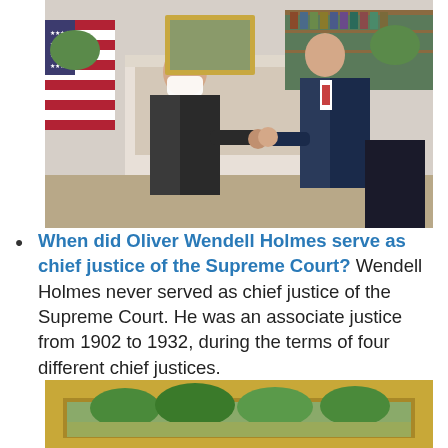[Figure (photo): Two men in formal attire fist-bumping in a formal room with an American flag and fireplace with bookshelves. One man wears a white face mask.]
When did Oliver Wendell Holmes serve as chief justice of the Supreme Court? Wendell Holmes never served as chief justice of the Supreme Court. He was an associate justice from 1902 to 1932, during the terms of four different chief justices.
[Figure (photo): Partial view of a framed painting with an ornate gold frame showing a landscape with green trees.]